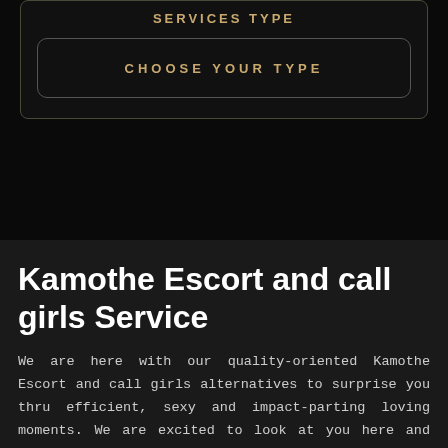SERVICES TYPE
CHOOSE YOUR TYPE
Kamothe Escort and call girls Service
We are here with our quality-oriented Kamothe Escort and call girls alternatives to surprise you thru efficient, sexy and impact-parting loving moments. We are excited to look at you here and would like to help you with best and extra-ordinary hot and sex serious. We one in every of the